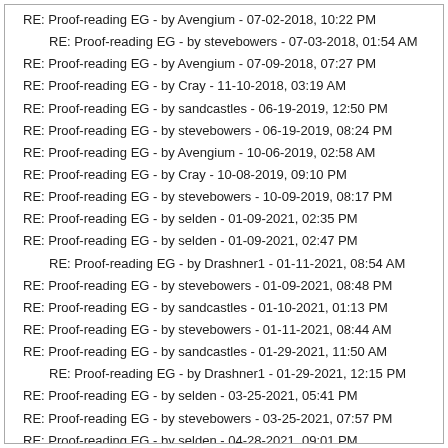RE: Proof-reading EG - by Avengium - 07-02-2018, 10:22 PM
RE: Proof-reading EG - by stevebowers - 07-03-2018, 01:54 AM
RE: Proof-reading EG - by Avengium - 07-09-2018, 07:27 PM
RE: Proof-reading EG - by Cray - 11-10-2018, 03:19 AM
RE: Proof-reading EG - by sandcastles - 06-19-2019, 12:50 PM
RE: Proof-reading EG - by stevebowers - 06-19-2019, 08:24 PM
RE: Proof-reading EG - by Avengium - 10-06-2019, 02:58 AM
RE: Proof-reading EG - by Cray - 10-08-2019, 09:10 PM
RE: Proof-reading EG - by stevebowers - 10-09-2019, 08:17 PM
RE: Proof-reading EG - by selden - 01-09-2021, 02:35 PM
RE: Proof-reading EG - by selden - 01-09-2021, 02:47 PM
RE: Proof-reading EG - by Drashner1 - 01-11-2021, 08:54 AM
RE: Proof-reading EG - by stevebowers - 01-09-2021, 08:48 PM
RE: Proof-reading EG - by sandcastles - 01-10-2021, 01:13 PM
RE: Proof-reading EG - by stevebowers - 01-11-2021, 08:44 AM
RE: Proof-reading EG - by sandcastles - 01-29-2021, 11:50 AM
RE: Proof-reading EG - by Drashner1 - 01-29-2021, 12:15 PM
RE: Proof-reading EG - by selden - 03-25-2021, 05:41 PM
RE: Proof-reading EG - by stevebowers - 03-25-2021, 07:57 PM
RE: Proof-reading EG - by selden - 04-28-2021, 09:01 PM
RE: Proof-reading EG - by stevebowers - 04-29-2021, 12:37 AM
RE: Proof-reading EG - by selden - 04-29-2021, 12:55 AM
RE: Proof-reading EG - by stevebowers - 04-29-2021, 01:54 AM
RE: Proof-reading EG - by The Astronomer - 04-30-2021, 01:14 AM
RE: Proof-reading EG - by stevebowers - 04-30-2021, 02:54 AM